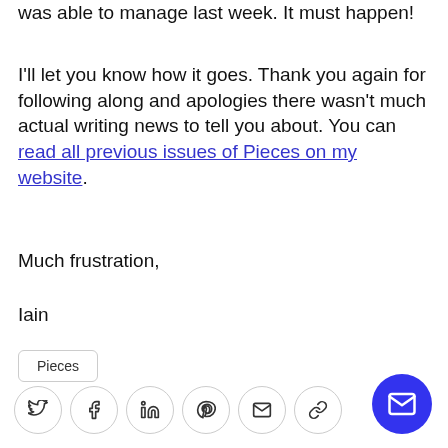was able to manage last week. It must happen!
I'll let you know how it goes. Thank you again for following along and apologies there wasn't much actual writing news to tell you about. You can read all previous issues of Pieces on my website.
Much frustration,
Iain
Pieces
[Figure (infographic): Row of social share icons (Twitter, Facebook, LinkedIn, Pinterest, Email, Link) as circles with outlines, and a blue filled circle email/subscribe button on the far right]